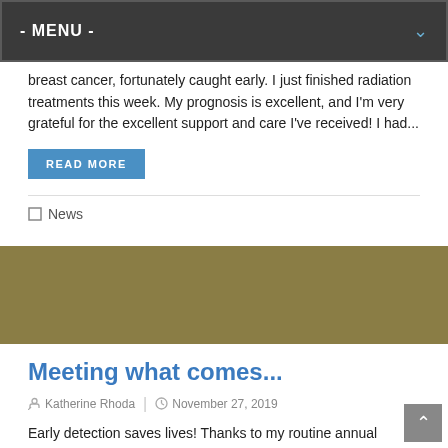- MENU -
breast cancer, fortunately caught early. I just finished radiation treatments this week. My prognosis is excellent, and I'm very grateful for the excellent support and care I've received! I had...
READ MORE
News
Meeting what comes...
Katherine Rhoda | November 27, 2019
Early detection saves lives! Thanks to my routine annual mammogram, I've been diagnosed with breast cancer, fortunately caught early. I'm unafraid, hopeful of full recovery, and very grateful for health coverage and excellent care! This development has derailed my